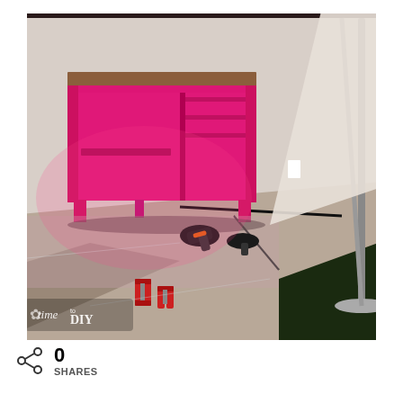[Figure (photo): A pink/magenta painted wooden desk with a wood-top surface sits on a drop cloth inside what appears to be a garage or workshop space. Power tools including a drill and spray gun lie on the drop cloth on the floor. A lamp stand is visible on the right. The scene is lit with pink-toned light. A watermark logo reading 'time to DIY' is visible in the bottom left corner of the photo.]
0 SHARES